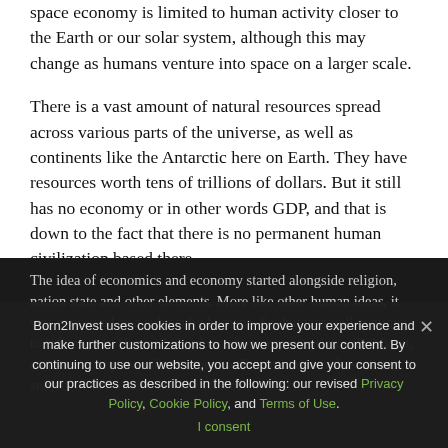space economy is limited to human activity closer to the Earth or our solar system, although this may change as humans venture into space on a larger scale.
There is a vast amount of natural resources spread across various parts of the universe, as well as continents like the Antarctic here on Earth. They have resources worth tens of trillions of dollars. But it still has no economy or in other words GDP, and that is down to the fact that there is no permanent human civilization based there.
The start of economics
The idea of economics and economy started alongside religion, nation state and other elements. More like other human ideas, it was conceived as a subject by humans. So, humans will continue to influence it. Human behavior or human perception will drive it, and that is why overall sentiment will continue to influence the subject of economics and the idea of economy.
Born2Invest uses cookies in order to improve your experience and make further customizations to how we present our content. By continuing to use our website, you accept and give your consent to our practices as described in the following: our revised Privacy Policy, Cookie Policy, and Terms of Use. I consent